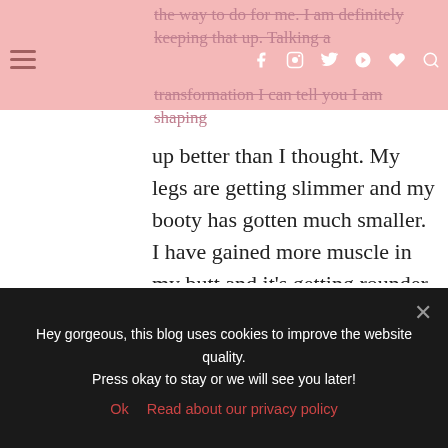the way to do for me. I am definitely keeping that up. Taking a transformation I can tell you I am shaping
up better than I thought. My legs are getting slimmer and my booty has gotten much smaller. I have gained more muscle in my butt and it's getting rounder from every angle. My thighs are looking good as well so I am going to keep it up.

My arms have lost a lot of fat. I used to feel like I was carrying around a bucket of chicken wings under my arms, but they look so much better now. My back
Hey gorgeous, this blog uses cookies to improve the website quality. Press okay to stay or we will see you later!
Ok   Read about our privacy policy